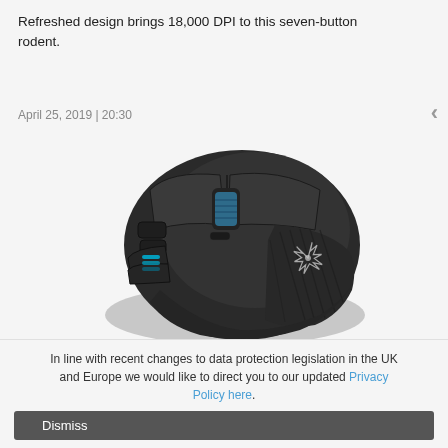Refreshed design brings 18,000 DPI to this seven-button rodent.
April 25, 2019 | 20:30
[Figure (photo): Top-down view of a Corsair gaming mouse (dark/black), showing multiple side buttons, scroll wheel, and Corsair logo on the right side. The mouse has a textured grip area and blue LED indicator lights on the left side.]
Corsair Ironclaw RGB Wireless Review
Corsair takes another of its rodents down the wireless path.
In line with recent changes to data protection legislation in the UK and Europe we would like to direct you to our updated Privacy Policy here.
Dismiss